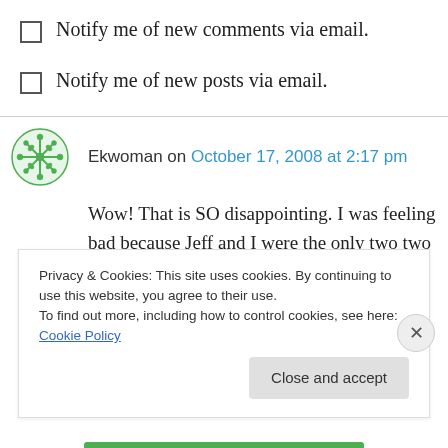Notify me of new comments via email.
Notify me of new posts via email.
Ekwoman on October 17, 2008 at 2:17 pm
Wow! That is SO disappointing. I was feeling bad because Jeff and I were the only two two in town that didn't go to the grand opening (found out from you about it). Guess we can pass, eh? Just wow.
Privacy & Cookies: This site uses cookies. By continuing to use this website, you agree to their use.
To find out more, including how to control cookies, see here: Cookie Policy